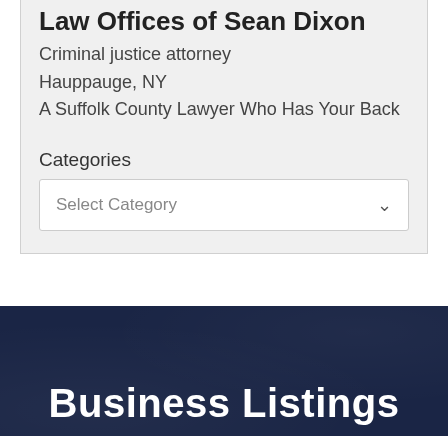Law Offices of Sean Dixon
Criminal justice attorney
Hauppauge, NY
A Suffolk County Lawyer Who Has Your Back
Categories
Select Category
Business Listings